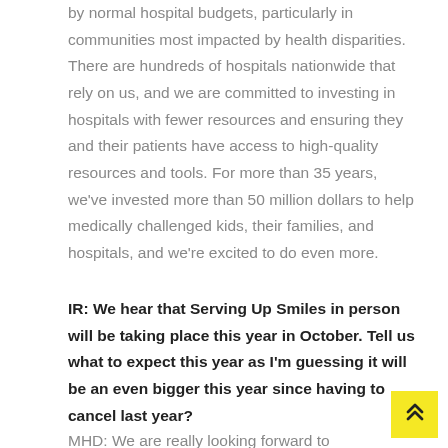by normal hospital budgets, particularly in communities most impacted by health disparities. There are hundreds of hospitals nationwide that rely on us, and we are committed to investing in hospitals with fewer resources and ensuring they and their patients have access to high-quality resources and tools. For more than 35 years, we've invested more than 50 million dollars to help medically challenged kids, their families, and hospitals, and we're excited to do even more.
IR: We hear that Serving Up Smiles in person will be taking place this year in October. Tell us what to expect this year as I'm guessing it will be an even bigger this year since having to cancel last year?
MHD: We are really looking forward to